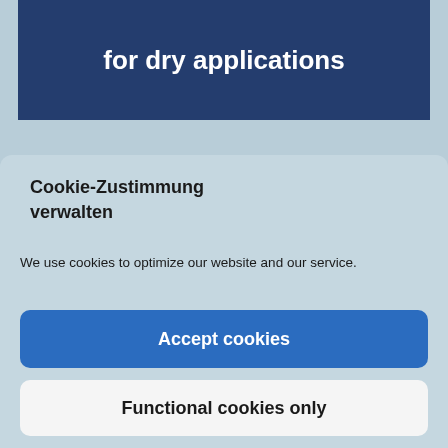for dry applications
Cookie-Zustimmung verwalten
We use cookies to optimize our website and our service.
Accept cookies
Functional cookies only
View preferences
Cookie Consent   Data Protection   Imprint